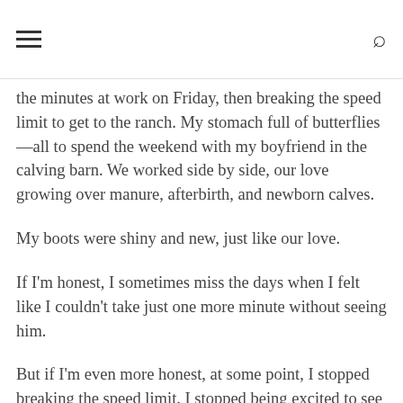[hamburger menu icon] [search icon]
the minutes at work on Friday, then breaking the speed limit to get to the ranch. My stomach full of butterflies—all to spend the weekend with my boyfriend in the calving barn. We worked side by side, our love growing over manure, afterbirth, and newborn calves.
My boots were shiny and new, just like our love.
If I'm honest, I sometimes miss the days when I felt like I couldn't take just one more minute without seeing him.
But if I'm even more honest, at some point, I stopped breaking the speed limit. I stopped being excited to see him. Instead, I started looking forward to seeing him—so I didn't have